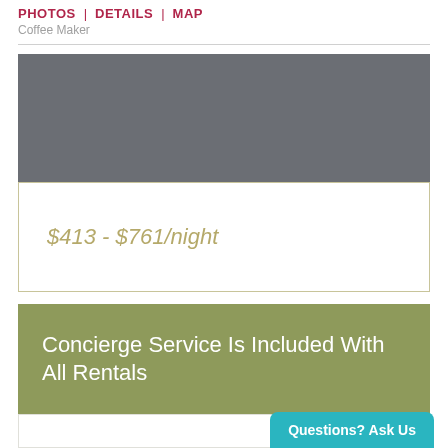PHOTOS | DETAILS | MAP
Coffee Maker
[Figure (other): Gray rectangular image placeholder block]
$413 - $761/night
Concierge Service Is Included With All Rentals
Questions? Ask Us